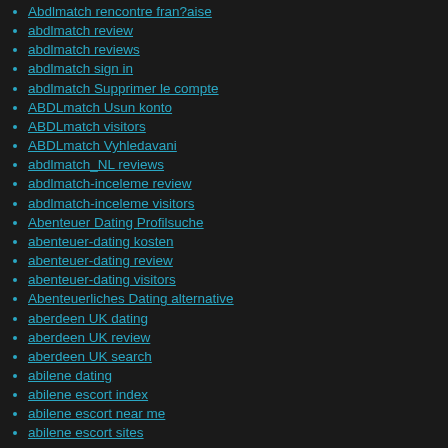Abdlmatch rencontre fran?aise
abdlmatch review
abdlmatch reviews
abdlmatch sign in
abdlmatch Supprimer le compte
ABDLmatch Usun konto
ABDLmatch visitors
ABDLmatch Vyhledavani
abdlmatch_NL reviews
abdlmatch-inceleme review
abdlmatch-inceleme visitors
Abenteuer Dating Profilsuche
abenteuer-dating kosten
abenteuer-dating review
abenteuer-dating visitors
Abenteuerliches Dating alternative
aberdeen UK dating
aberdeen UK review
aberdeen UK search
abilene dating
abilene escort index
abilene escort near me
abilene escort sites
abilene live escort reviews
abilene reviews